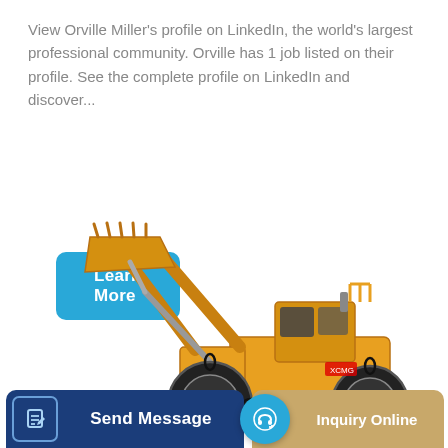View Orville Miller's profile on LinkedIn, the world's largest professional community. Orville has 1 job listed on their profile. See the complete profile on LinkedIn and discover...
[Figure (photo): Yellow front-end wheel loader (construction machine) with raised bucket arm, large tires, cab, on white background.]
Learn More
Send Message
Inquiry Online